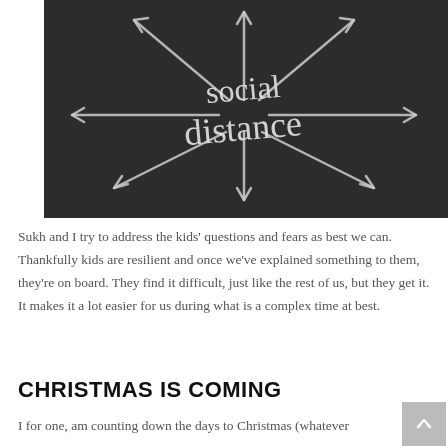[Figure (photo): A chalkboard with chalk-drawn arrows pointing outward from the center in multiple directions (star/burst pattern), with the words 'social distance' written in chalk in the center.]
Sukh and I try to address the kids' questions and fears as best we can. Thankfully kids are resilient and once we've explained something to them, they're on board. They find it difficult, just like the rest of us, but they get it. It makes it a lot easier for us during what is a complex time at best.
CHRISTMAS IS COMING
I for one, am counting down the days to Christmas (whatever